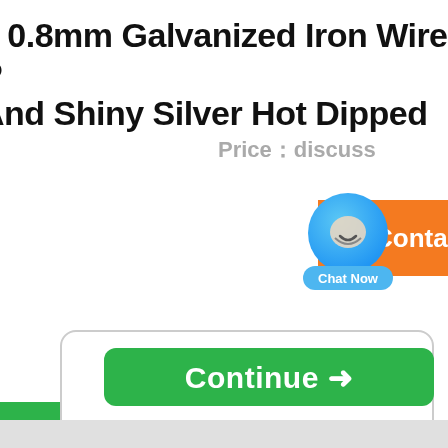e 0.8mm Galvanized Iron Wire P And Shiny Silver Hot Dipped
Price¼discuss
[Figure (screenshot): Green 'Get Best Price' button with rounded right side, orange 'Contact' button, and a blue chat bubble icon labeled 'Chat Now' overlapping both buttons]
[Figure (screenshot): Green 'Continue →' button inside a rounded rectangle border box, with a bottom gray bar]